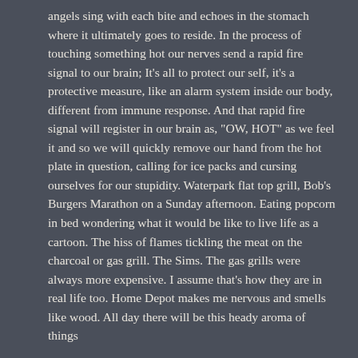angels sing with each bite and echoes in the stomach where it ultimately goes to reside. In the process of touching something hot our nerves send a rapid fire signal to our brain; It's all to protect our self, it's a protective measure, like an alarm system inside our body, different from immune response. And that rapid fire signal will register in our brain as, "OW, HOT" as we feel it and so we will quickly remove our hand from the hot plate in question, calling for ice packs and cursing ourselves for our stupidity. Waterpark flat top grill, Bob's Burgers Marathon on a Sunday afternoon. Eating popcorn in bed wondering what it would be like to live life as a cartoon. The hiss of flames tickling the meat on the charcoal or gas grill. The Sims. The gas grills were always more expensive. I assume that's how they are in real life too. Home Depot makes me nervous and smells like wood. All day there will be this heady aroma of things